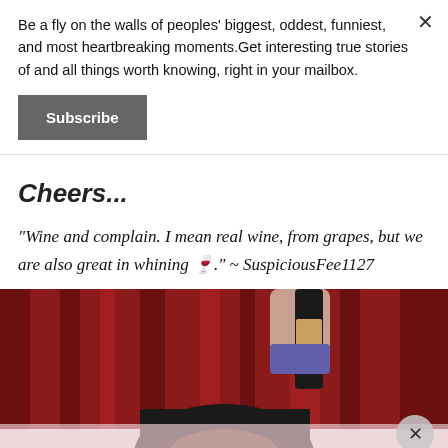Be a fly on the walls of peoples' biggest, oddest, funniest, and most heartbreaking moments.Get interesting true stories of and all things worth knowing, right in your mailbox.
Subscribe
Cheers...
"Wine and complain. I mean real wine, from grapes, but we are also great in whining 🍷." ~ SuspiciousFee1127
[Figure (photo): Person drinking from a wine bottle held upside down, in front of red curtain background. Bottom portion shows a different image with pink/light background.]